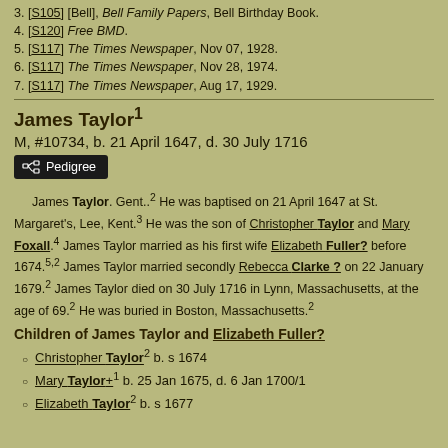3. [S105] [Bell], Bell Family Papers, Bell Birthday Book.
4. [S120] Free BMD.
5. [S117] The Times Newspaper, Nov 07, 1928.
6. [S117] The Times Newspaper, Nov 28, 1974.
7. [S117] The Times Newspaper, Aug 17, 1929.
James Taylor
M, #10734, b. 21 April 1647, d. 30 July 1716
James Taylor. Gent..2 He was baptised on 21 April 1647 at St. Margaret's, Lee, Kent.3 He was the son of Christopher Taylor and Mary Foxall.4 James Taylor married as his first wife Elizabeth Fuller? before 1674.5,2 James Taylor married secondly Rebecca Clarke ? on 22 January 1679.2 James Taylor died on 30 July 1716 in Lynn, Massachusetts, at the age of 69.2 He was buried in Boston, Massachusetts.2
Children of James Taylor and Elizabeth Fuller?
Christopher Taylor2 b. s 1674
Mary Taylor+1 b. 25 Jan 1675, d. 6 Jan 1700/1
Elizabeth Taylor2 b. s 1677